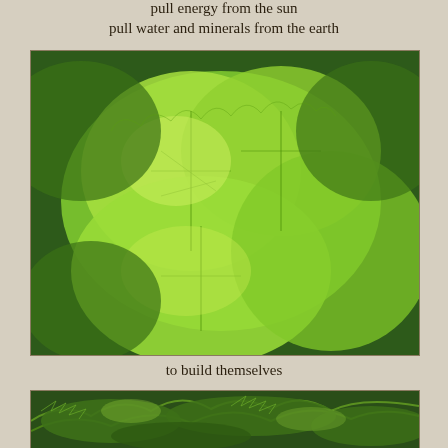pull energy from the sun
pull water and minerals from the earth
[Figure (photo): Close-up photograph of bright green plant leaves with visible veins and scalloped edges, lush foliage filling the frame]
to build themselves
[Figure (photo): Photograph of darker green plant leaves including fern-like foliage and broad leaves in a garden setting]